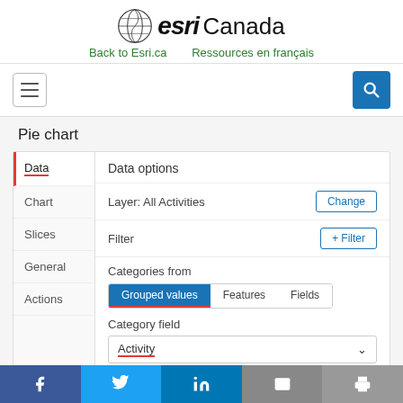esri Canada
Back to Esri.ca   Ressources en français
[Figure (screenshot): Esri Canada website screenshot showing Pie chart data options panel with Data, Chart, Slices, General, Actions tabs on sidebar, and Data options panel with Layer: All Activities, Filter, Categories from (Grouped values / Features / Fields), Category field (Activity)]
Facebook  Twitter  LinkedIn  Email  Print